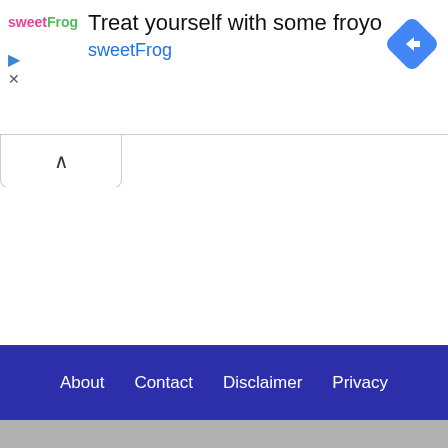[Figure (screenshot): Advertisement banner for sweetFrog frozen yogurt. Shows sweetFrog logo on left, headline 'Treat yourself with some froyo' and 'sweetFrog' link in blue, with a Google Maps navigation diamond icon on the right.]
[Figure (other): A collapse/minimize tab with an upward-pointing caret arrow, indicating a collapsible UI element.]
About   Contact   Disclaimer   Privacy
File.FlashTool - Agamnp @ 2017-2020 Editing.